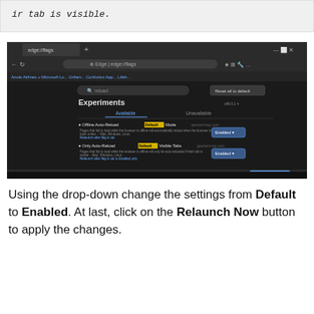ir tab is visible.
[Figure (screenshot): Microsoft Edge browser showing the Experiments (edge://flags) page with two flags visible: 'Offline Auto-Reload Mode' set to Enabled, and 'Only Auto-Reload Visible Tabs' set to Enabled. A 'Relaunch Now' button appears at the bottom right. Some text is blurred/redacted with geekermag.com watermark.]
Using the drop-down change the settings from Default to Enabled. At last, click on the Relaunch Now button to apply the changes.